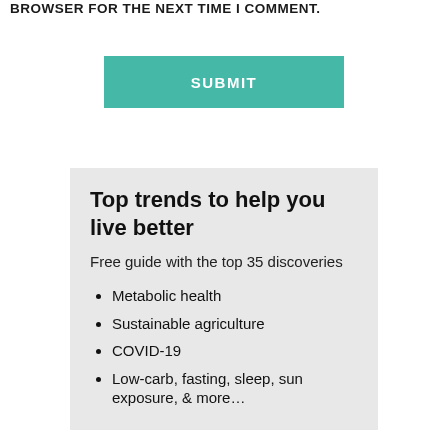BROWSER FOR THE NEXT TIME I COMMENT.
SUBMIT
Top trends to help you live better
Free guide with the top 35 discoveries
Metabolic health
Sustainable agriculture
COVID-19
Low-carb, fasting, sleep, sun exposure, & more…